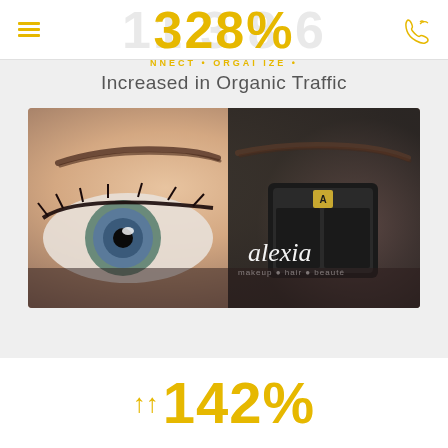Navigation bar with hamburger menu icon and phone icon
328%
NNECT • ORGAI IZE •
Increased in Organic Traffic
[Figure (photo): Alexia makeup brand promotional image showing a close-up of a woman's eye with well-groomed eyebrows, and a black makeup compact product with the Alexia brand logo and tagline 'makeup • hair • beauté']
142%